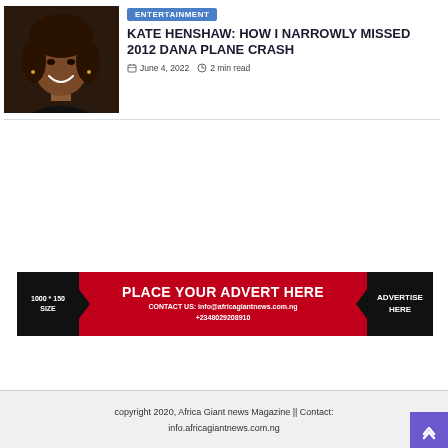[Figure (photo): Portrait photo of Kate Henshaw, smiling woman with curly hair wearing black outfit]
ENTERTAINMENT
KATE HENSHAW: HOW I NARROWLY MISSED 2012 DANA PLANE CRASH
June 4, 2022  2 min read
[Figure (infographic): Advertisement banner: PLACE YOUR ADVERT HERE — CONTACT US: info@africagiantnews.com.ng +2348029208910 — 1000 * 150 SIZE — ADVERTISE HERE]
copyright 2020, Africa Giant news Magazine || Contact: info.africagiantnews.com.ng